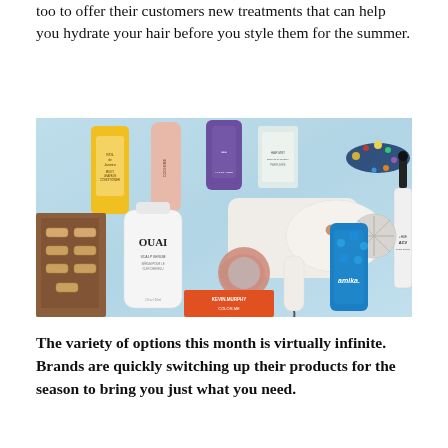too to offer their customers new treatments that can help you hydrate your hair before you style them for the summer.
[Figure (photo): Flat lay of various hair care products including Sol de Janeiro Milky Leave-In Conditioner, OUAI Scalp Serum, a white hair dryer, amika bottle, dpHUE ACV Scalp Serum, Kevin Murphy Color.Me product, a pink scrunchie, a jeweled headband, hair extensions, and other hair care items arranged on a light blue marble background.]
The variety of options this month is virtually infinite. Brands are quickly switching up their products for the season to bring you just what you need.